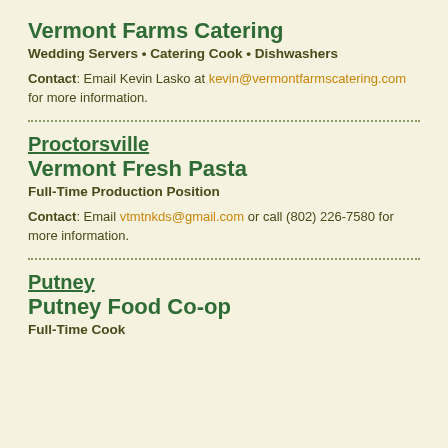Vermont Farms Catering
Wedding Servers • Catering Cook • Dishwashers
Contact: Email Kevin Lasko at kevin@vermontfarmscatering.com for more information.
Proctorsville
Vermont Fresh Pasta
Full-Time Production Position
Contact: Email vtmtnkds@gmail.com or call (802) 226-7580 for more information.
Putney
Putney Food Co-op
Full-Time Cook